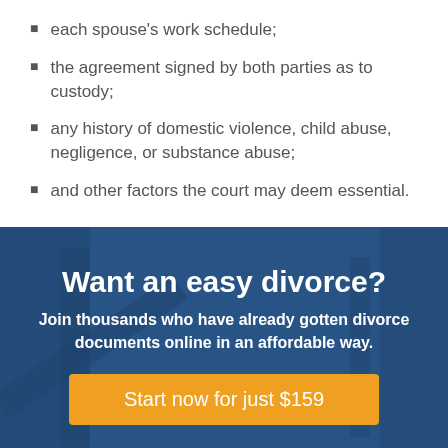each spouse's work schedule;
the agreement signed by both parties as to custody;
any history of domestic violence, child abuse, negligence, or substance abuse;
and other factors the court may deem essential.
[Figure (infographic): Promotional banner with dark blue overlay on a background photo of a gavel/pen on desk. Contains heading 'Want an easy divorce?', subheading 'Join thousands who have already gotten divorce documents online in an affordable way.', and an orange call-to-action button 'Start now for just $159'.]